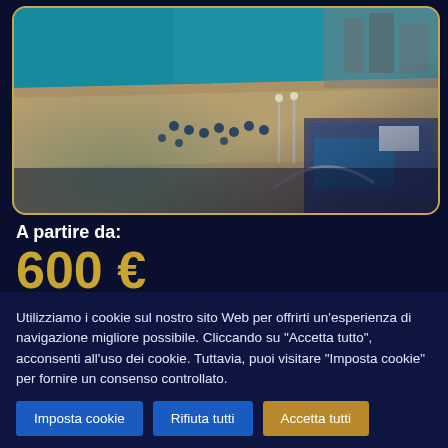[Figure (photo): Aerial view of a beach resort with turquoise water, sandy beach with umbrellas, and a rooftop pool/terrace area in the foreground]
A partire da:
600 €
Utilizziamo i cookie sul nostro sito Web per offrirti un'esperienza di navigazione migliore possibile. Cliccando su "Accetta tutto", acconsenti all'uso dei cookie. Tuttavia, puoi visitare "Imposta cookie" per fornire un consenso controllato.
Imposta cookie
Rifiuta tutti
Accetta tutti